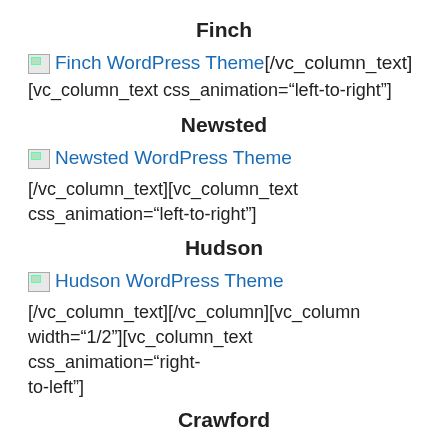Finch
[Figure (other): Broken image icon for Finch WordPress Theme link]
[/vc_column_text]
[vc_column_text css_animation="left-to-right"]
Newsted
[Figure (other): Broken image icon for Newsted WordPress Theme link]
[/vc_column_text][vc_column_text css_animation="left-to-right"]
Hudson
[Figure (other): Broken image icon for Hudson WordPress Theme link]
[/vc_column_text][/vc_column][vc_column width="1/2"][vc_column_text css_animation="right-to-left"]
Crawford